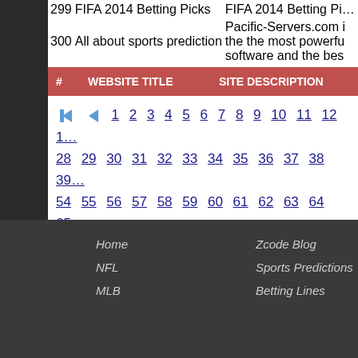| # | WEBSITE TITLE | SITE DESCRIPTION |
| --- | --- | --- |
| 299 | FIFA 2014 Betting Picks | FIFA 2014 Betting Pi… |
| 300 | All about sports prediction | Pacific-Servers.com i the the most powerfu software and the bes |
#  WEBSITE TITLE   SITE DESCRIPTION
◀◀ 1 2 3 4 5 6 7 8 9 10 11 12 1… 28 29 30 31 32 33 34 35 36 37 38 39… 54 55 56 57 58 59 60 61 62 63 64 65… 80 81 82 83 84 85 86 87 88 89 90 91…
Add your site here by placing zcode widgets on
Home   Zcode Blog   Betting Myths   NFL   Sports Predictions   About Us   MLB   Betting Lines   Sports Betting Syste…